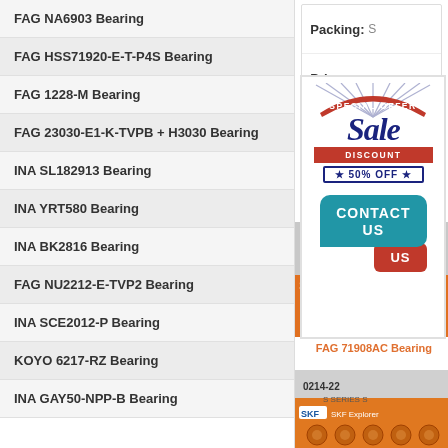FAG NA6903 Bearing
FAG HSS71920-E-T-P4S Bearing
FAG 1228-M Bearing
FAG 23030-E1-K-TVPB + H3030 Bearing
INA SL182913 Bearing
INA YRT580 Bearing
INA BK2816 Bearing
FAG NU2212-E-TVP2 Bearing
INA SCE2012-P Bearing
KOYO 6217-RZ Bearing
INA GAY50-NPP-B Bearing
Packing: S
Price: se
[Figure (infographic): Special Offer Sale Discount 50% OFF promotional banner with Contact Us speech bubbles]
[Figure (photo): FAG 71908AC Bearing product photo]
FAG 71908AC Bearing
[Figure (photo): Second bearing product photo showing SKF Explorer bearing]